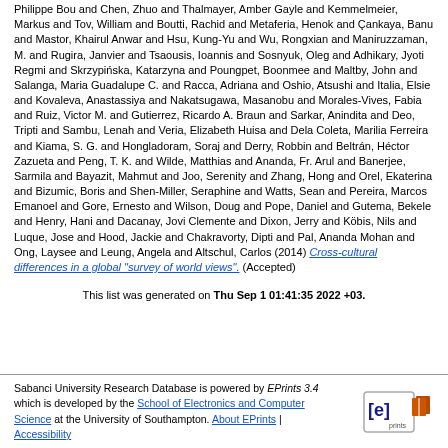Philippe Bou and Chen, Zhuo and Thalmayer, Amber Gayle and Kemmelmeier, Markus and Tov, William and Boutti, Rachid and Metaferia, Henok and Çankaya, Banu and Mastor, Khairul Anwar and Hsu, Kung-Yu and Wu, Rongxian and Maniruzzaman, M. and Rugira, Janvier and Tsaousis, Ioannis and Sosnyuk, Oleg and Adhikary, Jyoti Regmi and Skrzypińska, Katarzyna and Poungpet, Boonmee and Maltby, John and Salanga, Maria Guadalupe C. and Racca, Adriana and Oshio, Atsushi and Italia, Elsie and Kovaleva, Anastassiya and Nakatsugawa, Masanobu and Morales-Vives, Fabia and Ruiz, Victor M. and Gutierrez, Ricardo A. Braun and Sarkar, Anindita and Deo, Tripti and Sambu, Lenah and Veria, Elizabeth Huisa and Dela Coleta, Marilia Ferreira and Kiama, S. G. and Hongladoram, Soraj and Derry, Robbin and Beltrán, Héctor Zazueta and Peng, T. K. and Wilde, Matthias and Ananda, Fr. Arul and Banerjee, Sarmila and Bayazit, Mahmut and Joo, Serenity and Zhang, Hong and Orel, Ekaterina and Bizumic, Boris and Shen-Miller, Seraphine and Watts, Sean and Pereira, Marcos Emanoel and Gore, Ernesto and Wilson, Doug and Pope, Daniel and Gutema, Bekele and Henry, Hani and Dacanay, Jovi Clemente and Dixon, Jerry and Köbis, Nils and Luque, Jose and Hood, Jackie and Chakravorty, Dipti and Pal, Ananda Mohan and Ong, Laysee and Leung, Angela and Altschul, Carlos (2014) Cross-cultural differences in a global "survey of world views". (Accepted)
This list was generated on Thu Sep 1 01:41:35 2022 +03.
Sabanci University Research Database is powered by EPrints 3.4 which is developed by the School of Electronics and Computer Science at the University of Southampton. About EPrints | Accessibility